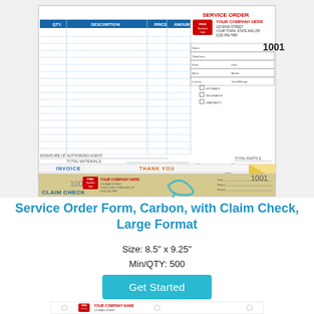[Figure (illustration): Service Order Form with carbon copy and claim check stub, large format business form showing invoice layout with line items table, company info area, and a tan/cream colored claim check ticket at the bottom numbered 1001]
Service Order Form, Carbon, with Claim Check, Large Format
Size: 8.5" x 9.25"
Min/QTY: 500
Price: $308.25
Get Started
[Figure (illustration): Partial view of another service order form at the bottom of the page, showing the top portion with company name and logo areas]